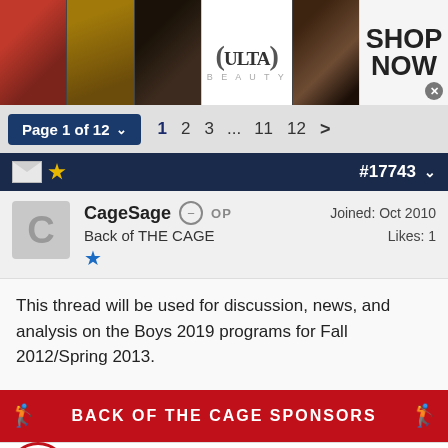[Figure (photo): Ulta Beauty advertisement banner with makeup photos and SHOP NOW call to action]
Page 1 of 12  1  2  3  ...  11  12  >
#17743
CageSage  OP
Back of THE CAGE
Joined: Oct 2010
Likes: 1
This thread will be used for discussion, news, and analysis on the Boys 2019 programs for Fall 2012/Spring 2013.
BACK OF THE CAGE SPONSORS
[Figure (logo): LiLacrosse Showcases logo with circular team logo and red text]